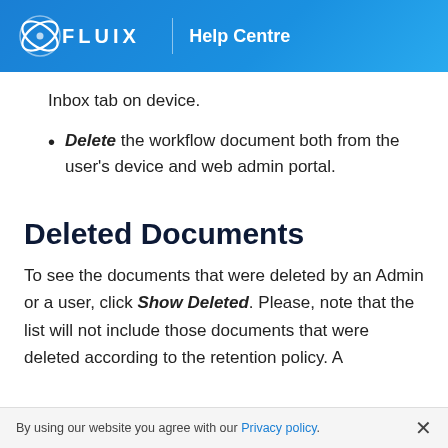FLUIX | Help Centre
Inbox tab on device.
Delete the workflow document both from the user's device and web admin portal.
Deleted Documents
To see the documents that were deleted by an Admin or a user, click Show Deleted. Please, note that the list will not include those documents that were deleted according to the retention policy. A
By using our website you agree with our Privacy policy.